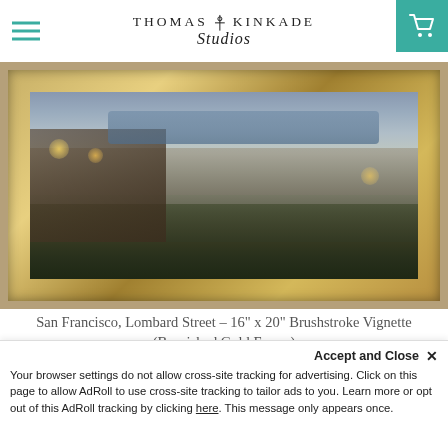Thomas Kinkade Studios
[Figure (photo): Thomas Kinkade painting 'San Francisco, Lombard Street' in a burnished gold frame, depicting a scenic view of San Francisco with Victorian houses, Lombard Street winding down, city skyline and bay in background, lush greenery with warm glowing lights.]
San Francisco, Lombard Street – 16" x 20" Brushstroke Vignette (Burnished Gold Frame)
$399.00
Accept and Close ✕
Your browser settings do not allow cross-site tracking for advertising. Click on this page to allow AdRoll to use cross-site tracking to tailor ads to you. Learn more or opt out of this AdRoll tracking by clicking here. This message only appears once.